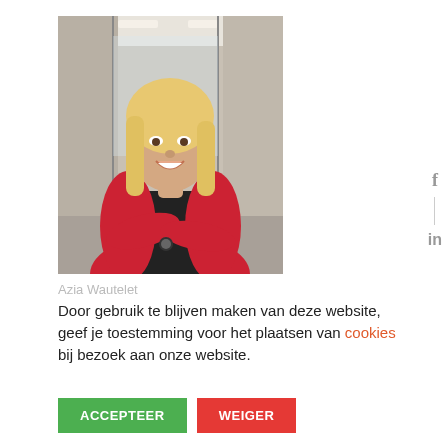[Figure (photo): Portrait photo of a smiling blonde woman wearing a red cardigan over a black outfit, arms crossed, standing in an office corridor.]
Azia Wautelet
Door gebruik te blijven maken van deze website, geef je toestemming voor het plaatsen van cookies bij bezoek aan onze website.
ACCEPTEER
WEIGER